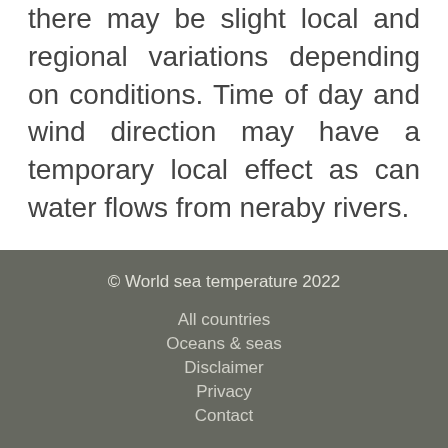there may be slight local and regional variations depending on conditions. Time of day and wind direction may have a temporary local effect as can water flows from neraby rivers.
Alternate names for Bagamanoc
Bagamanoc
© World sea temperature 2022
All countries
Oceans & seas
Disclaimer
Privacy
Contact